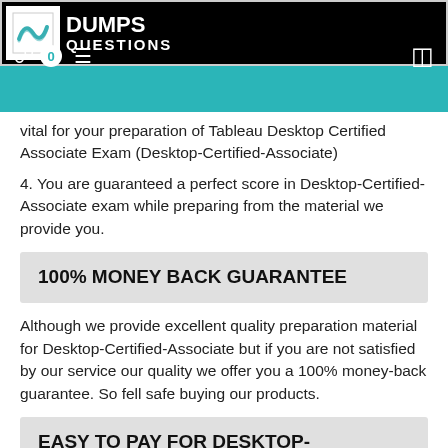DUMPS QUESTIONS
vital for your preparation of Tableau Desktop Certified Associate Exam (Desktop-Certified-Associate)
4. You are guaranteed a perfect score in Desktop-Certified-Associate exam while preparing from the material we provide you.
100% MONEY BACK GUARANTEE
Although we provide excellent quality preparation material for Desktop-Certified-Associate but if you are not satisfied by our service our quality we offer you a 100% money-back guarantee. So fell safe buying our products.
EASY TO PAY FOR DESKTOP-CERTIFIED-ASSOCIATE DUMPS ONLINE
You can purchase our Desktop-Certified-Associate product through online secure payment methods, like as Credit Cards, Visa, Master Cards, American Express, and Discover.